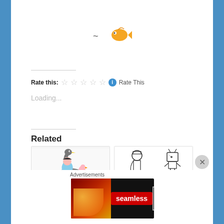[Figure (illustration): Small orange/gold fish emoji with a tilde (~) to its left, centered near the top of the page]
Rate this: ☆☆☆☆☆ ℹ Rate This
Loading...
Related
[Figure (illustration): Colorful cartoon illustration showing a girl riding an ostrich with other cartoon animals including a cheetah cub]
Almost out of time to
[Figure (illustration): Black and white coloring page style drawings of cartoon characters labeled SOLDIER and TRASH COLLECTOR, with another small character]
Coloring Action for
Advertisements
[Figure (other): Seamless food delivery advertisement banner with pizza image on left, Seamless logo in red center, and ORDER NOW button on right with dark background]